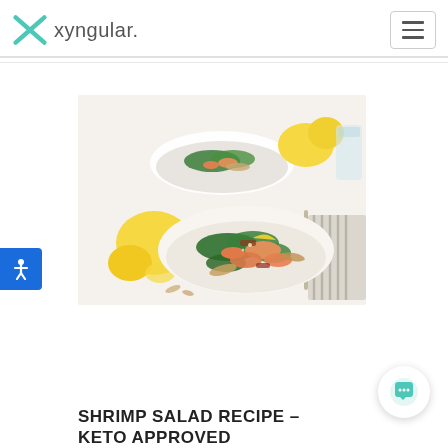xyngular.
[Figure (photo): Two white bowls of shrimp salad with spinach, bacon, almonds, and lemon wedges on a white surface with a striped cloth and fork, surrounded by lemons and a glass of water]
SHRIMP SALAD RECIPE – KETO APPROVED